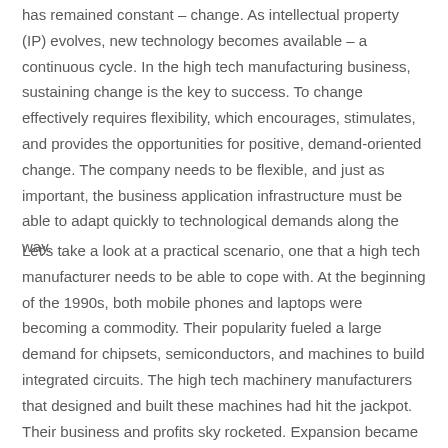has remained constant – change. As intellectual property (IP) evolves, new technology becomes available – a continuous cycle. In the high tech manufacturing business, sustaining change is the key to success. To change effectively requires flexibility, which encourages, stimulates, and provides the opportunities for positive, demand-oriented change. The company needs to be flexible, and just as important, the business application infrastructure must be able to adapt quickly to technological demands along the way.
Let's take a look at a practical scenario, one that a high tech manufacturer needs to be able to cope with. At the beginning of the 1990s, both mobile phones and laptops were becoming a commodity. Their popularity fueled a large demand for chipsets, semiconductors, and machines to build integrated circuits. The high tech machinery manufacturers that designed and built these machines had hit the jackpot. Their business and profits sky rocketed. Expansion became the norm.